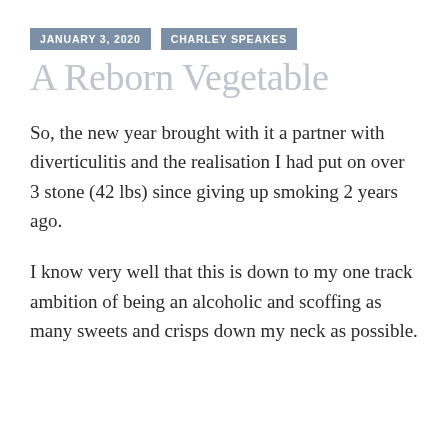JANUARY 3, 2020   CHARLEY SPEAKES
A Reborn Vegetable
So, the new year brought with it a partner with diverticulitis and the realisation I had put on over 3 stone (42 lbs) since giving up smoking 2 years ago.
I know very well that this is down to my one track ambition of being an alcoholic and scoffing as many sweets and crisps down my neck as possible.